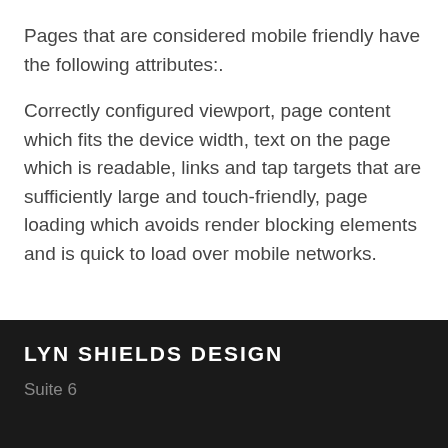Pages that are considered mobile friendly have the following attributes:.
Correctly configured viewport, page content which fits the device width, text on the page which is readable, links and tap targets that are sufficiently large and touch-friendly, page loading which avoids render blocking elements and is quick to load over mobile networks.
LYN SHIELDS DESIGN
Suite 6